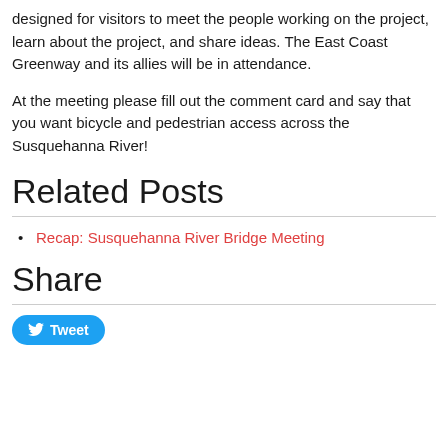designed for visitors to meet the people working on the project, learn about the project, and share ideas.  The East Coast Greenway and its allies will be in attendance.
At the meeting please fill out the comment card and say that you want bicycle and pedestrian access across the Susquehanna River!
Related Posts
Recap: Susquehanna River Bridge Meeting
Share
[Figure (other): Tweet button with Twitter bird icon]